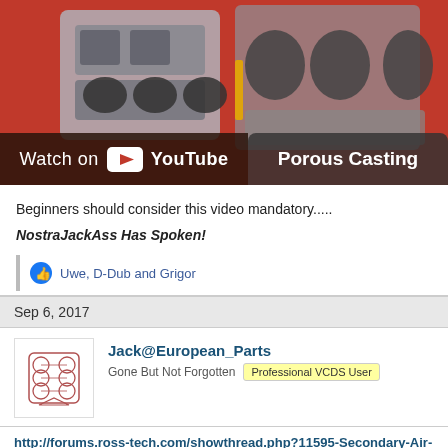[Figure (screenshot): YouTube video thumbnail showing an engine cutaway on a red background. Two overlay buttons at the bottom: 'Watch on YouTube' (left) and 'Porous Casting' (right).]
Beginners should consider this video mandatory.....
NostraJackAss Has Spoken!
Uwe, D-Dub and Grigor
Sep 6, 2017
Jack@European_Parts
Gone But Not Forgotten   Professional VCDS User
http://forums.ross-tech.com/showthread.php?11595-Secondary-Air-r